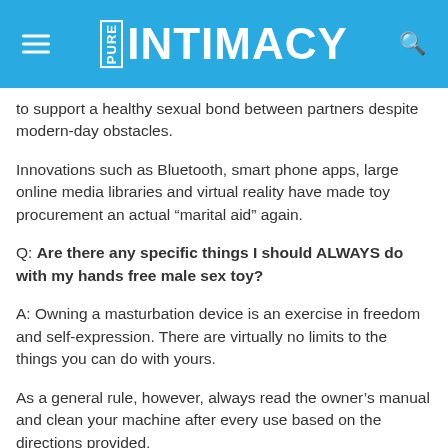PURE INTIMACY
to support a healthy sexual bond between partners despite modern-day obstacles.
Innovations such as Bluetooth, smart phone apps, large online media libraries and virtual reality have made toy procurement an actual “marital aid” again.
Q: Are there any specific things I should ALWAYS do with my hands free male sex toy?
A: Owning a masturbation device is an exercise in freedom and self-expression. There are virtually no limits to the things you can do with yours.
As a general rule, however, always read the owner’s manual and clean your machine after every use based on the directions provided.